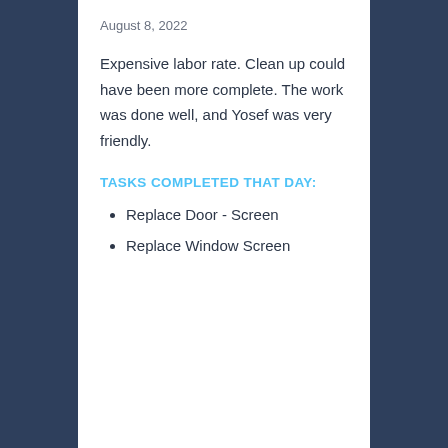August 8, 2022
Expensive labor rate. Clean up could have been more complete. The work was done well, and Yosef was very friendly.
TASKS COMPLETED THAT DAY:
Replace Door - Screen
Replace Window Screen